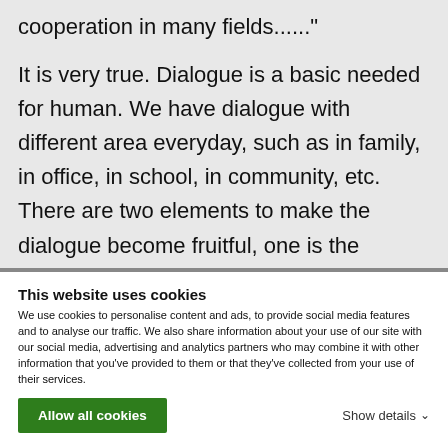cooperation in many fields......"
It is very true. Dialogue is a basic needed for human. We have dialogue with different area everyday, such as in family, in office, in school, in community, etc. There are two elements to make the dialogue become fruitful, one is the “humbld” heart, second is to have patient to listen carefully in the conversation with others. If we can have these
This website uses cookies
We use cookies to personalise content and ads, to provide social media features and to analyse our traffic. We also share information about your use of our site with our social media, advertising and analytics partners who may combine it with other information that you’ve provided to them or that they’ve collected from your use of their services.
Allow all cookies
Show details